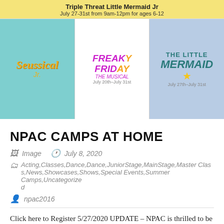[Figure (illustration): Banner image with three theater camp show logos: Seussical Jr (teal background), Freaky Friday The Musical (white background), and The Little Mermaid Jr (blue/purple background), with a yellow header strip reading 'Triple Threat Little Mermaid Jr' and 'July 27-31st from 9am-12pm for ages 6-12']
NPAC CAMPS AT HOME
Image   July 8, 2020
Acting,Classes,Dance,Dance,JuniorStage,MainStage,Master Class,News,Showcases,Shows,Special Events,Summer Camps,Uncategorized
npac2016
Click here to Register 5/27/2020 UPDATE – NPAC is thrilled to be able to hold IN-STUDIO Summer Camps along with Virtual Camps. Both camps will be run simultaneously. Instructors Students will be able to see each other both in-studio and at